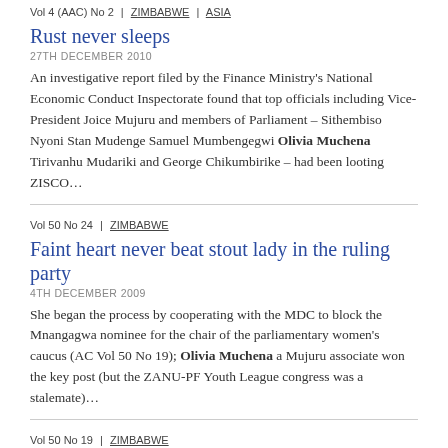Vol 4 (AAC) No 2 | ZIMBABWE | ASIA
Rust never sleeps
27TH DECEMBER 2010
An investigative report filed by the Finance Ministry's National Economic Conduct Inspectorate found that top officials including Vice-President Joice Mujuru and members of Parliament – Sithembiso Nyoni Stan Mudenge Samuel Mumbengegwi Olivia Muchena Tirivanhu Mudariki and George Chikumbirike – had been looting ZISCO…
Vol 50 No 24 | ZIMBABWE
Faint heart never beat stout lady in the ruling party
4TH DECEMBER 2009
She began the process by cooperating with the MDC to block the Mnangagwa nominee for the chair of the parliamentary women's caucus (AC Vol 50 No 19); Olivia Muchena a Mujuru associate won the key post (but the ZANU-PF Youth League congress was a stalemate)…
Vol 50 No 19 | ZIMBABWE